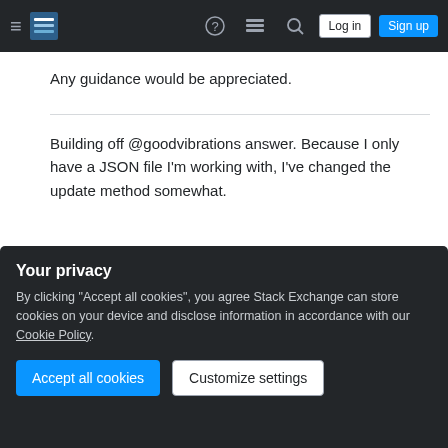Stack Exchange navigation bar with hamburger menu, logo, help, chat, search icons, Log in and Sign up buttons
Any guidance would be appreciated.
Building off @goodvibrations answer. Because I only have a JSON file I'm working with, I've changed the update method somewhat.
[Figure (screenshot): Code block showing async function deploy with JSON file reading and parsing]
Your privacy
By clicking "Accept all cookies", you agree Stack Exchange can store cookies on your device and disclose information in accordance with our Cookie Policy.
Accept all cookies  Customize settings
But now I get a new error